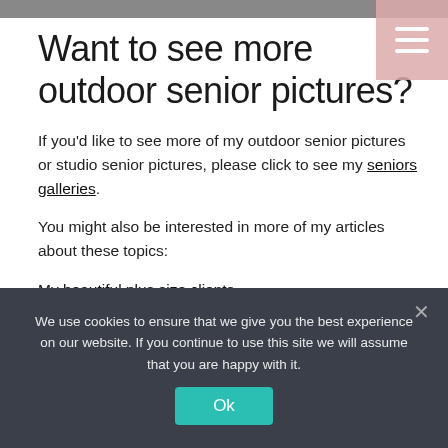[Figure (photo): Top image bar (partial photograph cropped at top)]
Want to see more outdoor senior pictures?
If you'd like to see more of my outdoor senior pictures or studio senior pictures, please click to see my seniors galleries.
You might also be interested in more of my articles about these topics:
My beautiful plus size clients
Seniors
We use cookies to ensure that we give you the best experience on our website. If you continue to use this site we will assume that you are happy with it.